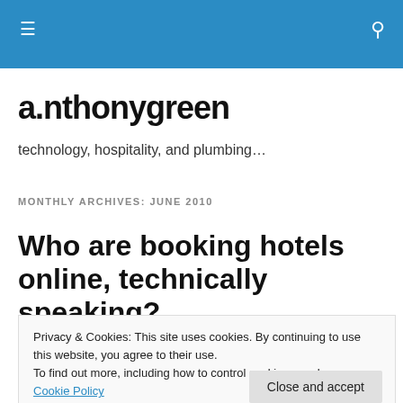Navigation bar with hamburger menu and search icon
a.nthonygreen
technology, hospitality, and plumbing…
MONTHLY ARCHIVES: JUNE 2010
Who are booking hotels online, technically speaking?
Privacy & Cookies: This site uses cookies. By continuing to use this website, you agree to their use.
To find out more, including how to control cookies, see here: Cookie Policy
Close and accept